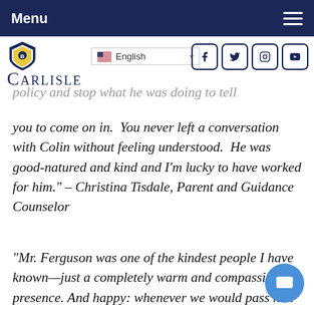Menu
[Figure (logo): Carlisle school shield logo and wordmark with language selector and social media icons (Facebook, Twitter, Instagram, YouTube)]
policy and stop what he was doing to tell you to come on in.  You never left a conversation with Colin without feeling understood.  He was good-natured and kind and I'm lucky to have worked for him." – Christina Tisdale, Parent and Guidance Counselor
“Mr. Ferguson was one of the kindest people I have known—just a completely warm and compassionate presence. And happy: whenever we would pass him